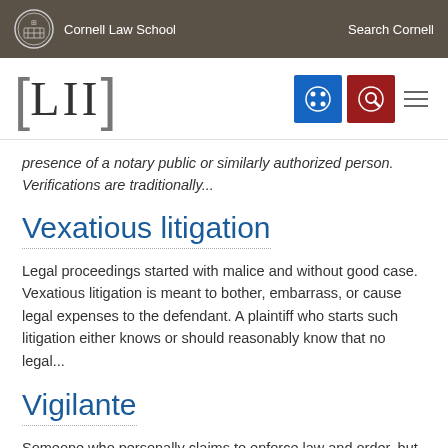Cornell Law School   Search Cornell
[Figure (logo): LII Legal Information Institute logo with navigation icons]
presence of a notary public or similarly authorized person. Verifications are traditionally...
Vexatious litigation
Legal proceedings started with malice and without good case. Vexatious litigation is meant to bother, embarrass, or cause legal expenses to the defendant. A plaintiff who starts such litigation either knows or should reasonably know that no legal...
Vigilante
Someone who personally claims to enforce law and order, but lacks legal authority to do so. Vigilantes